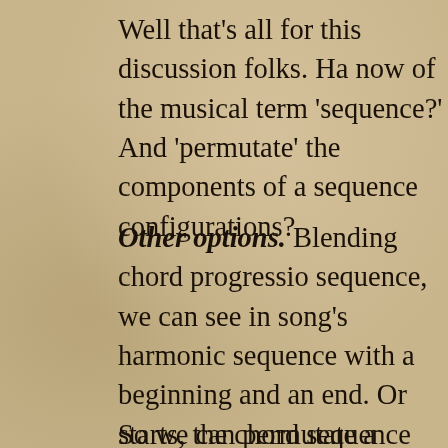Well that's all for this discussion folks. Ha now of the musical term 'sequence?' And 'permutate' the components of a sequence configurations?
Other options. Blending chord progressio sequence, we can see in song's harmonic sequence with a beginning and an end. Or starts, the chord sequence 'progresses' alo where if needed for the arrangement, it w In modern jazz stylings, there's the idea th progression doesn't necessarily have to pr sequence that the chords were written.
So we can permutate a progression's elen